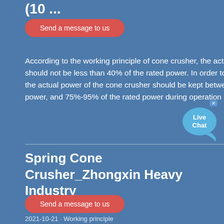(10 ...
Send a message to us
According to the working principle of cone crusher, the actual power of cone crusher should not be less than 40% of the rated power. In order to maximize the productivity, the actual power of the cone crusher should be kept between 40%- of the rated power, and 75%-95% of the rated power during operation is the best choice.
Spring Cone Crusher_Zhongxin Heavy Industry
Send a message to us
2021-10-21 · Working principle